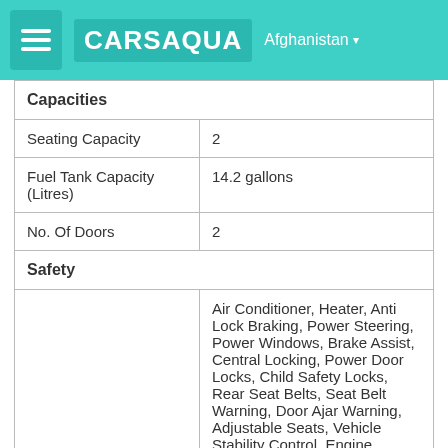CARSAQUA Afghanistan
| Capacities |  |
| Seating Capacity | 2 |
| Fuel Tank Capacity (Litres) | 14.2 gallons |
| No. Of Doors | 2 |
| Safety |  |
|  | Air Conditioner, Heater, Anti Lock Braking, Power Steering, Power Windows, Brake Assist, Central Locking, Power Door Locks, Child Safety Locks, Rear Seat Belts, Seat Belt Warning, Door Ajar Warning, Adjustable Seats, Vehicle Stability Control, Engine Immobilizer, Crash Sensor, Engine Check Warning, Rear Camera, Anti-Theft Device |
| Anterior |  |